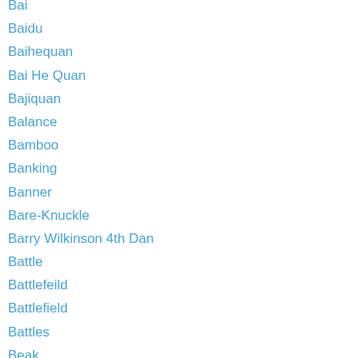Bai
Baidu
Baihequan
Bai He Quan
Bajiquan
Balance
Bamboo
Banking
Banner
Bare-Knuckle
Barry Wilkinson 4th Dan
Battle
Battlefeild
Battlefield
Battles
Beak
Beheading
Beheadings
Beijing
Belt
Bhante